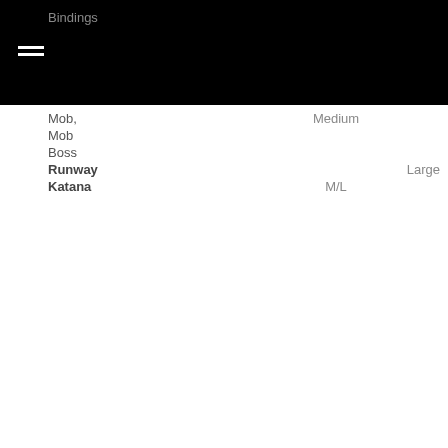Bindings
| Product | Size |
| --- | --- |
| Mob, Mob | Medium |
| Boss |  |
| Runway | Large |
| Katana | M/L |